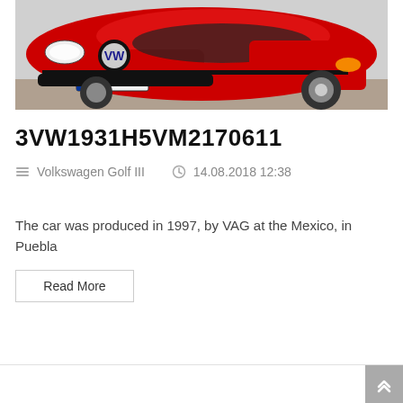[Figure (photo): Red Volkswagen Golf III (1992) photographed from the front-left angle, with license plate showing '1992']
3VW1931H5VM2170611
Volkswagen Golf III   14.08.2018 12:38
The car was produced in 1997, by VAG at the Mexico, in Puebla
Read More